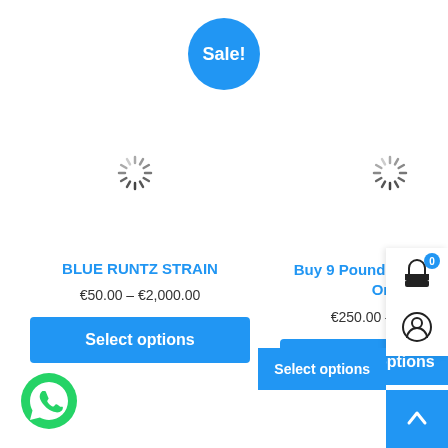[Figure (other): Blue circular Sale! badge/button]
[Figure (other): Loading spinner left]
[Figure (other): Loading spinner right]
BLUE RUNTZ STRAIN
€50.00 – €2,000.00
Select options
Buy 9 Pound Hammer Strain Online
€250.00 – €1,400.00
Select options
[Figure (other): WhatsApp green chat icon]
[Figure (other): Cart icon with 0 badge and user icon sidebar]
Select options
[Figure (other): Scroll to top blue button with caret up]